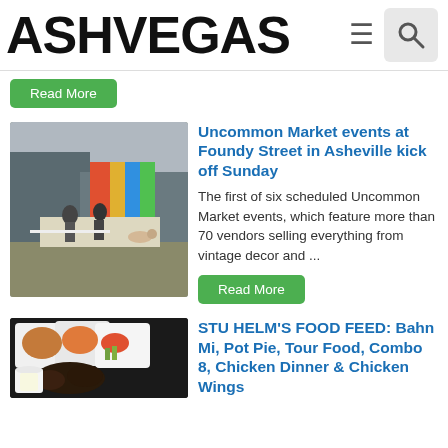ASHVEGAS
Read More
Uncommon Market events at Foundy Street in Asheville kick off Sunday
The first of six scheduled Uncommon Market events, which feature more than 70 vendors selling everything from vintage decor and ...
Read More
STU HELM'S FOOD FEED: Bahn Mi, Pot Pie, Tour Food, Combo 8, Chicken Dinner & Chicken Wings